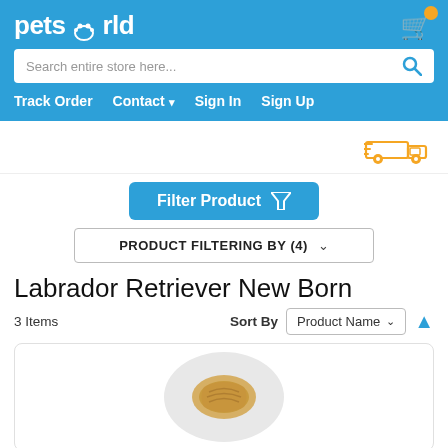pets world
Search entire store here...
Track Order  Contact  Sign In  Sign Up
[Figure (illustration): Delivery truck icon in orange/yellow]
Filter Product
PRODUCT FILTERING BY (4)
Labrador Retriever New Born
3 Items  Sort By  Product Name
[Figure (photo): Partial product image showing a golden/brown chew treat on a light gray circular background]